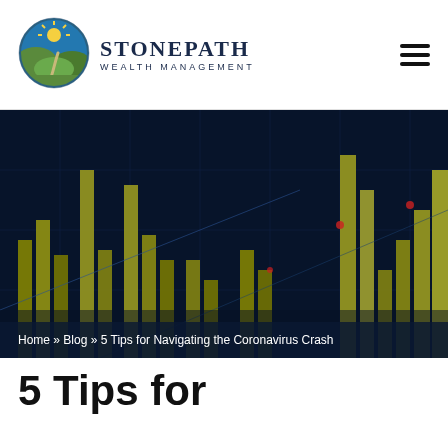[Figure (logo): Stonepath Wealth Management logo with circular emblem showing a winding path through green hills with blue sky]
STONEPATH WEALTH MANAGEMENT
[Figure (photo): Dark blue tinted background image of financial bar chart with glowing gold/green bars, used as hero banner]
Home » Blog » 5 Tips for Navigating the Coronavirus Crash
5 Tips for